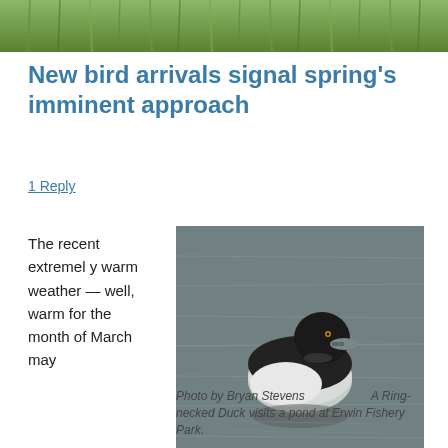[Figure (photo): Top banner photo showing green reeds/grass, cropped at top of page]
New bird arrivals signal spring's imminent approach
1 Reply
The recent extremely warm weather — well, warm for the month of March may
[Figure (photo): A Ring-necked Duck floating on a pond, dark head and back with white breast, photographed at Erwin Fishery Park by Bryan Stevens]
Photo by Bryan Stevens   A Ring-necked Duck visits a pond at Erwin Fishery Park.